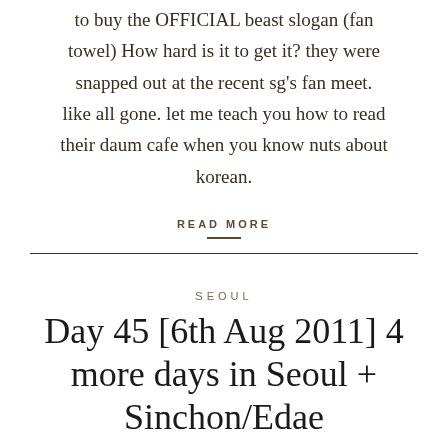to buy the OFFICIAL beast slogan (fan towel) How hard is it to get it? they were snapped out at the recent sg's fan meet. like all gone. let me teach you how to read their daum cafe when you know nuts about korean.
READ MORE
SEOUL
Day 45 [6th Aug 2011] 4 more days in Seoul + Sinchon/Edae
776 ViewsI was late! supposed to pack up our luggage by 11am and changed room. but i was late, at the